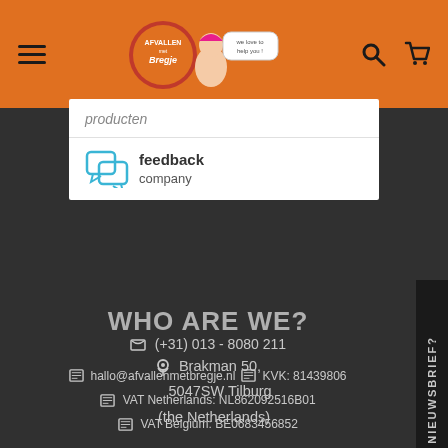Afvallen met Bregje - website header with logo and navigation icons
producten
[Figure (logo): Feedback Company logo with speech bubble icons and text 'feedback company']
WHO ARE WE?
Brakman 50, 5047SW Tilburg (the Netherlands)
(+31) 013 - 8080 211
hallo@afvallenmetbregje.nl   KVK: 81439806
VAT Netherlands: NL862092516B01
VAT Belgium: BE0683456852